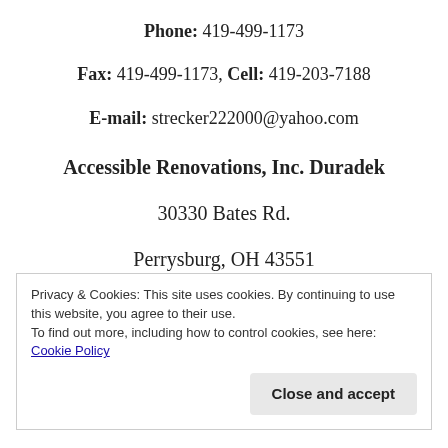Phone: 419-499-1173
Fax: 419-499-1173, Cell: 419-203-7188
E-mail: strecker222000@yahoo.com
Accessible Renovations, Inc. Duradek
30330 Bates Rd.
Perrysburg, OH 43551
Privacy & Cookies: This site uses cookies. By continuing to use this website, you agree to their use.
To find out more, including how to control cookies, see here: Cookie Policy